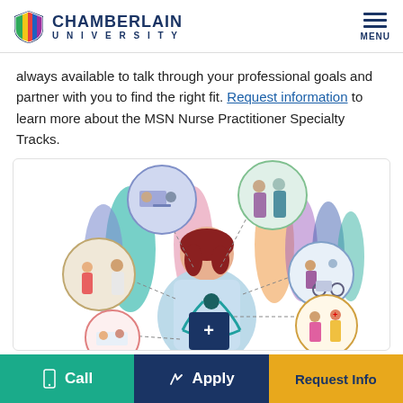CHAMBERLAIN UNIVERSITY
always available to talk through your professional goals and partner with you to find the right fit. Request information to learn more about the MSN Nurse Practitioner Specialty Tracks.
[Figure (illustration): Infographic illustration of a nurse practitioner with a stethoscope and tablet at center, surrounded by circular vignettes depicting various medical specialty scenarios (patients, doctors, caregivers), with colorful silhouettes of people in the background.]
Call   Apply   Request Info